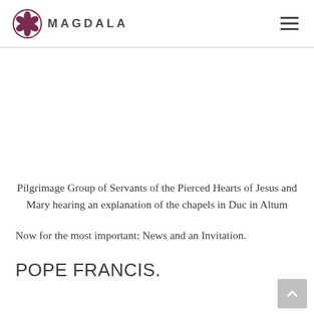MAGDALA
Pilgrimage Group of Servants of the Pierced Hearts of Jesus and Mary hearing an explanation of the chapels in Duc in Altum
Now for the most important: News and an Invitation.
POPE FRANCIS.